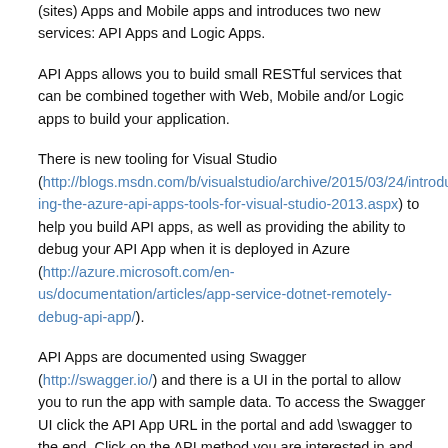(sites) Apps and Mobile apps and introduces two new services: API Apps and Logic Apps.
API Apps allows you to build small RESTful services that can be combined together with Web, Mobile and/or Logic apps to build your application.
There is new tooling for Visual Studio (http://blogs.msdn.com/b/visualstudio/archive/2015/03/24/introducing-the-azure-api-apps-tools-for-visual-studio-2013.aspx) to help you build API apps, as well as providing the ability to debug your API App when it is deployed in Azure (http://azure.microsoft.com/en-us/documentation/articles/app-service-dotnet-remotely-debug-api-app/).
API Apps are documented using Swagger (http://swagger.io/) and there is a UI in the portal to allow you to run the app with sample data. To access the Swagger UI click the API App URL in the portal and add \swagger to the end. Click on the API method you are interested in and then click the Action